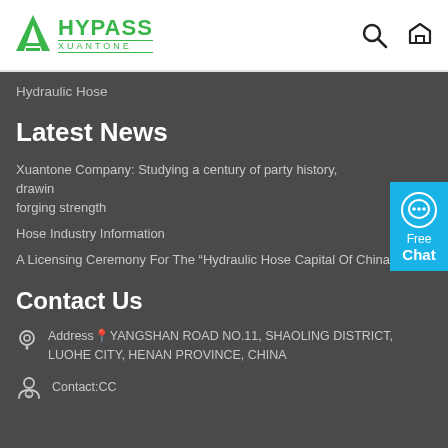HYPASS XUANTONE
Hydraulic Hose
Latest News
Xuantone Company: Studying a century of party history, drawing forging strength
Hose Industry Information
A Licensing Ceremony For The “Hydraulic Hose Capital Of China
Contact Us
Address: YANGSHAN ROAD NO.11, SHAOLING DISTRICT, LUOHE CITY, HENAN PROVINCE, CHINA
Contact:CC